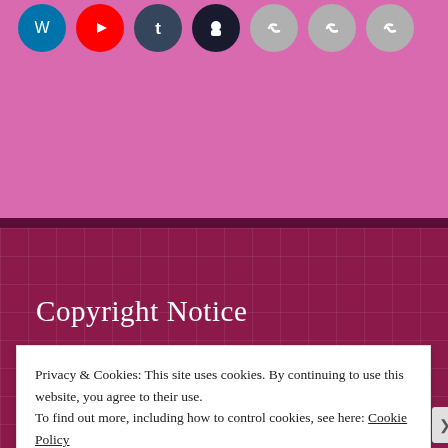[Figure (other): Row of social media icon circles: WordPress (blue), YouTube (red), Tumblr (dark navy), GitHub (black), and three grey chain/link icons, on a pink background]
Copyright Notice
©The Srishti Blog and ©Srishti Purohit. Unauthorised use and/or duplication of this material and photographs without express and written permission
Privacy & Cookies: This site uses cookies. By continuing to use this website, you agree to their use.
To find out more, including how to control cookies, see here: Cookie Policy
Close and accept